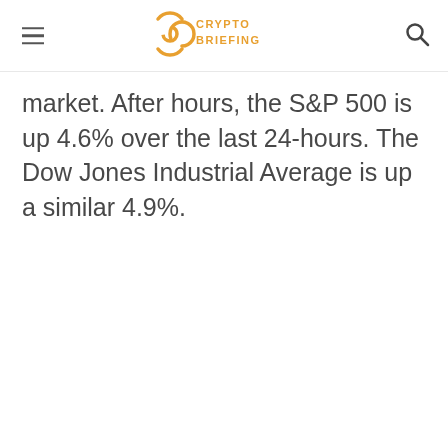Crypto Briefing
market. After hours, the S&P 500 is up 4.6% over the last 24-hours. The Dow Jones Industrial Average is up a similar 4.9%.